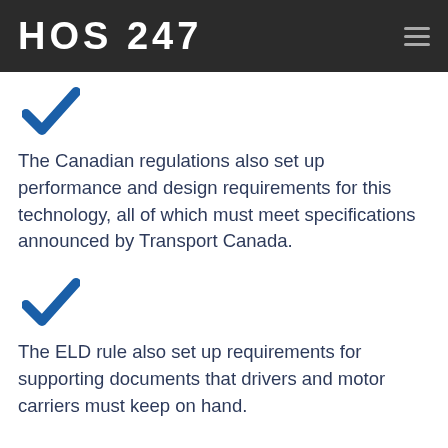HOS 247
The Canadian regulations also set up performance and design requirements for this technology, all of which must meet specifications announced by Transport Canada.
The ELD rule also set up requirements for supporting documents that drivers and motor carriers must keep on hand.